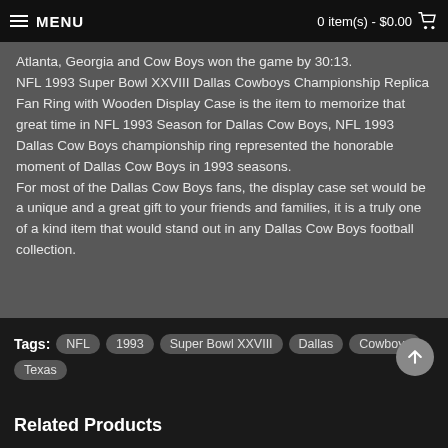MENU   0 item(s) - $0.00
Atlanta, Georgia and Cow Boys won the game by 30:13.
NFL 1993 Super Bowl XXVIII Dallas Cowboys Championship Replica Fan Ring with Wooden Display Case is the item to memorize that great time in NFL 1993 Season for Dallas Cow Boys, NFL 1993 Dallas Cow Boys championship ring represented the honorable moment of Dallas Cow Boys in 1993 seasons.
For most of the Dallas Cow Boys fans, the display case set would be a unique and a great gift to your friends and families, it is a truly one of a kind item that would stand out in any Dallas Cow Boys football collection.
Tags: NFL  1993  Super Bowl XXVIII  Dallas  Cowboys  Texas
Related Products